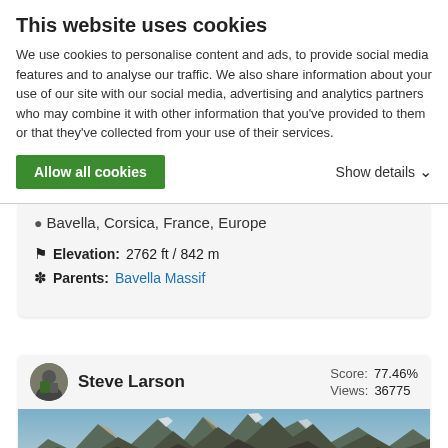This website uses cookies
We use cookies to personalise content and ads, to provide social media features and to analyse our traffic. We also share information about your use of our site with our social media, advertising and analytics partners who may combine it with other information that you've provided to them or that they've collected from your use of their services.
Allow all cookies
Show details
Bavella, Corsica, France, Europe
Elevation: 2762 ft / 842 m
Parents: Bavella Massif
Steve Larson  Score: 77.46%  Views: 36775
[Figure (photo): Mountain landscape photo showing rocky peaks with snow, likely in Corsica/Bavella area]